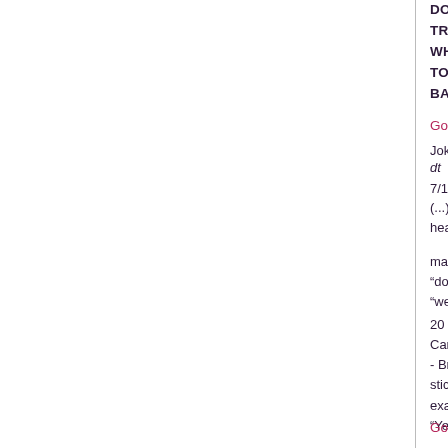DOWN HIS
TROUSERS TO REVEAL A BIT OF LETTUCE ST
WHAT THE HELL IS THAT SAYS THE DOCTOR.
TO WHICH THE BLOKE REPLIES THAT IS THE T
BARKING MAD SALFORD
Google Groups: alt.fan.eddie-izzard
Joke
dt
7/10/99
(...)
heard this one last night ...
man goes to the doctor and he has a lettuce sticki
"doctor, doctor, tell me what is it ?"
"well i'm not too sure, but i think it may be just the
20 December 2001, Calgary (Alberta) Herald, "Wa
Canadians toughest to amuse" by Roger Highfield
- Britain: A man goes to the doctor and says: "Doc
sticking out of my bottom." The doctor asks him to
examines him. The man asks: "Is it serious, doctor
"Yes, I'm sorry to tell you that it's the tip of the iceb
Google Books